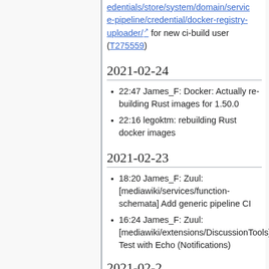edentials/store/system/domain/service-pipeline/credential/docker-registry-uploader/ for new ci-build user (T275559)
2021-02-24
22:47 James_F: Docker: Actually re-building Rust images for 1.50.0
22:16 legoktm: rebuilding Rust docker images
2021-02-23
18:20 James_F: Zuul: [mediawiki/services/function-schemata] Add generic pipeline CI
16:24 James_F: Zuul: [mediawiki/extensions/DiscussionTools] Test with Echo (Notifications)
2021-02-2